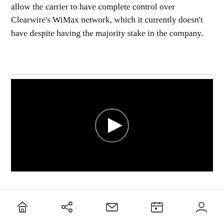allow the carrier to have complete control over Clearwire's WiMax network, which it currently doesn't have despite having the majority stake in the company.
[Figure (screenshot): Black video player with a circular play button in the center on a black background]
Navigation bar with home, share, mail, calendar, and profile icons